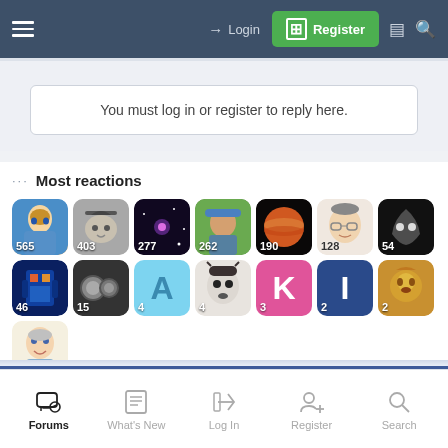Login | Register
You must log in or register to reply here.
Most reactions
[Figure (infographic): Grid of user avatars with reaction counts: 565, 403, 277, 262, 190, 128, 54, 46, 15, 4, 4, 3, 2, 2, 2]
Forums | What's New | Log In | Register | Search